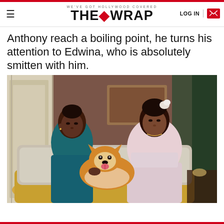WE'VE GOT HOLLYWOOD COVERED | THE WRAP | LOG IN
Anthony reach a boiling point, he turns his attention to Edwina, who is absolutely smitten with him.
[Figure (photo): Two women seated on an ornate gold sofa in a lavish room. The woman on the left wears a teal/dark blue brocade dress and has her hair up; she is holding a corgi dog with an orange and white coat. The woman on the right wears a pale pink Regency-era gown with a white floral hair accessory.]